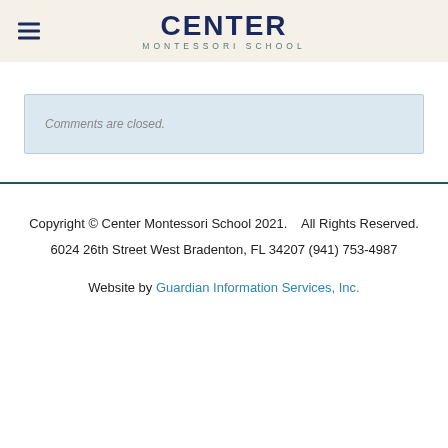CENTER MONTESSORI SCHOOL
Comments are closed.
Copyright © Center Montessori School 2021.    All Rights Reserved.
6024 26th Street West Bradenton, FL 34207 (941) 753-4987
Website by Guardian Information Services, Inc.